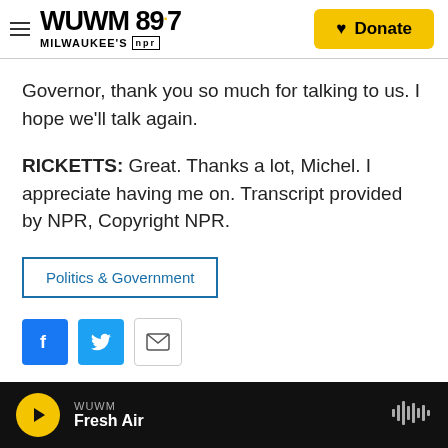WUWM 89.7 Milwaukee's NPR — Donate
Governor, thank you so much for talking to us. I hope we'll talk again.
RICKETTS: Great. Thanks a lot, Michel. I appreciate having me on. Transcript provided by NPR, Copyright NPR.
Politics & Government
[Figure (other): Social sharing buttons: Facebook, Twitter, Email]
WUWM Fresh Air — audio player bar